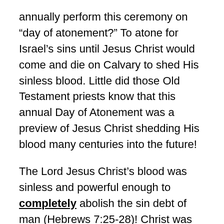annually perform this ceremony on “day of atonement?” To atone for Israel’s sins until Jesus Christ would come and die on Calvary to shed His sinless blood. Little did those Old Testament priests know that this annual Day of Atonement was a preview of Jesus Christ shedding His blood many centuries into the future!
The Lord Jesus Christ’s blood was sinless and powerful enough to completely abolish the sin debt of man (Hebrews 7:25-28)! Christ was not only the ultimate High Priest, but He was also sacrificing His own blood, not the blood of an animal!
“11 But Christ being come an high priest of good things to come, by a greater and more perfect tabernacle, not made with hands, that is to say, not of this building [not of this world, but in heaven];